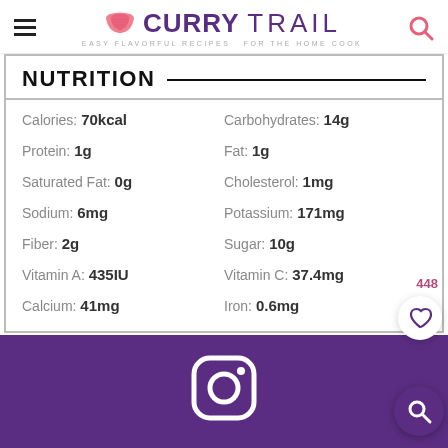CURRY TRAIL - EASY FLAVORFUL RECIPES FOR THE HOME COOK
NUTRITION
| Nutrient | Value | Nutrient | Value |
| --- | --- | --- | --- |
| Calories: | 70kcal | Carbohydrates: | 14g |
| Protein: | 1g | Fat: | 1g |
| Saturated Fat: | 0g | Cholesterol: | 1mg |
| Sodium: | 6mg | Potassium: | 171mg |
| Fiber: | 2g | Sugar: | 10g |
| Vitamin A: | 435IU | Vitamin C: | 37.4mg |
| Calcium: | 41mg | Iron: | 0.6mg |
[Figure (logo): Instagram logo icon in white on purple background]
Did you make this recipe?